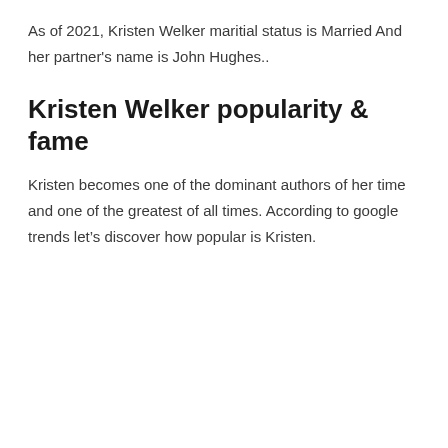As of 2021, Kristen Welker maritial status is Married And her partner's name is John Hughes..
Kristen Welker popularity & fame
Kristen becomes one of the dominant authors of her time and one of the greatest of all times. According to google trends let’s discover how popular is Kristen.